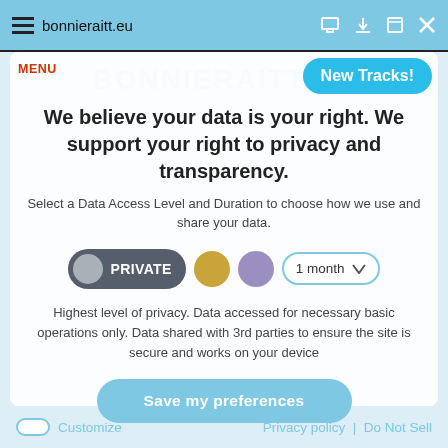bonnieraitt.eu
MENU
[Figure (screenshot): New Tracks! button in blue rounded rectangle]
We believe your data is your right. We support your right to privacy and transparency.
Select a Data Access Level and Duration to choose how we use and share your data.
[Figure (infographic): PRIVATE toggle button (dark grey pill with grey circle), gold circle, purple circle, and 1 month dropdown selector]
Highest level of privacy. Data accessed for necessary basic operations only. Data shared with 3rd parties to ensure the site is secure and works on your device
[Figure (infographic): Save my preferences button in light blue rounded rectangle]
Customize  Privacy policy | Do Not Sell